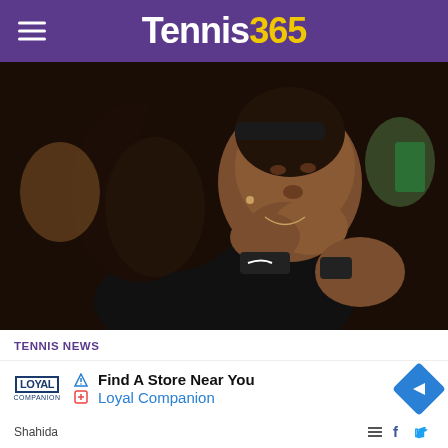Tennis365
[Figure (photo): Serena Williams blowing a kiss with both hands pressed together in front of her face, wearing black Nike wristband and outfit, crowd visible in background]
TENNIS NEWS
John McEnroe hopes 'GOAT of GOATs' Serena will come back stronger' and ...
[Figure (other): Advertisement: Find A Store Near You - Loyal Companion, with navigation arrow icon]
Shahida ...